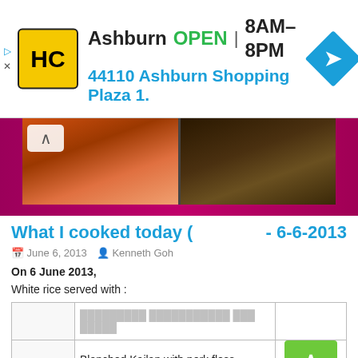[Figure (screenshot): Ad banner for HC store in Ashburn showing logo, OPEN status, hours 8AM-8PM, address 44110 Ashburn Shopping Plaza 1., and navigation icon]
[Figure (photo): Food photos showing cooked dishes against a magenta/pink background, with a back button showing an up caret]
What I cooked today (  - 6-6-2013
June 6, 2013   Kenneth Goh
On 6 June 2013,
White rice served with :
|  | [blurred dish name] |  |
|  | Blanched Kailan with pork floss | ↑ |
|  | [blurred dish name] |  |
|  | [blurred text] |  |